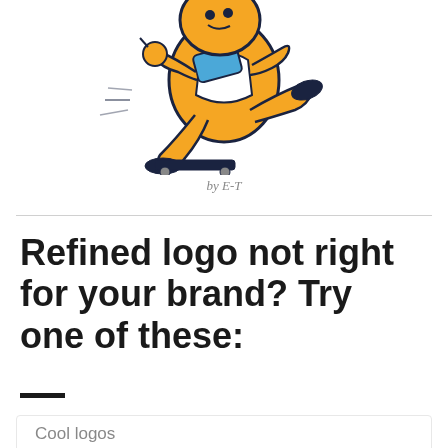[Figure (illustration): Cartoon character running/skateboarding figure in yellow, white, blue and dark navy colors, stylized retro mascot illustration, cropped at top]
by E-T
Refined logo not right for your brand? Try one of these:
Cool logos